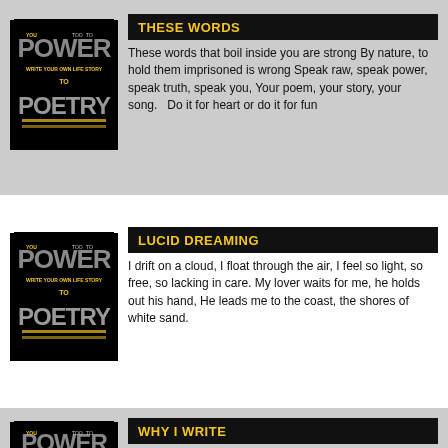[Figure (illustration): Power to Poetry book cover thumbnail — black background with stylized text POWER and POETRY in grey/gold letters]
THESE WORDS
These words that boil inside you are strong By nature, to hold them imprisoned is wrong Speak raw, speak power, speak truth, speak you, Your poem, your story, your song.   Do it for heart or do it for fun
[Figure (illustration): Power to Poetry book cover thumbnail — black background with stylized text POWER and POETRY in grey/gold letters]
LUCID DREAMING
I drift on a cloud, I float through the air, I feel so light, so free, so lacking in care. My lover waits for me, he holds out his hand, He leads me to the coast, the shores of white sand.
[Figure (illustration): Power to Poetry book cover thumbnail — black background with stylized text POWER and POETRY in grey/gold letters]
WHY I WRITE
I will escape factTo indulge in the fictionThat lies in my soul. For the silhouette to Prevail...